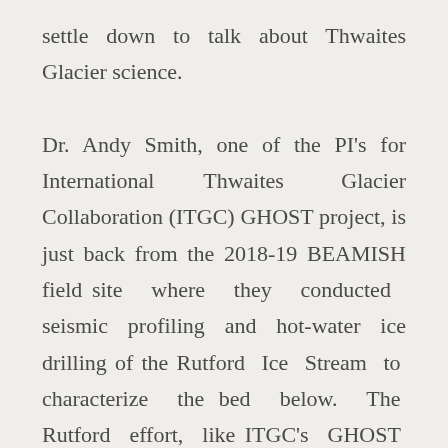settle down to talk about Thwaites Glacier science.

Dr. Andy Smith, one of the PI's for International Thwaites Glacier Collaboration (ITGC) GHOST project, is just back from the 2018-19 BEAMISH field site where they conducted seismic profiling and hot-water ice drilling of the Rutford Ice Stream to characterize the bed below. The Rutford effort, like ITGC's GHOST project, is part of a